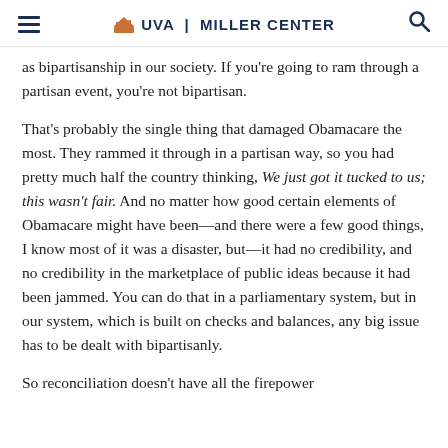UVA | MILLER CENTER
as bipartisanship in our society. If you're going to ram through a partisan event, you're not bipartisan.
That's probably the single thing that damaged Obamacare the most. They rammed it through in a partisan way, so you had pretty much half the country thinking, We just got it tucked to us; this wasn't fair. And no matter how good certain elements of Obamacare might have been—and there were a few good things, I know most of it was a disaster, but—it had no credibility, and no credibility in the marketplace of public ideas because it had been jammed. You can do that in a parliamentary system, but in our system, which is built on checks and balances, any big issue has to be dealt with bipartisanly.
So reconciliation doesn't have all the firepower